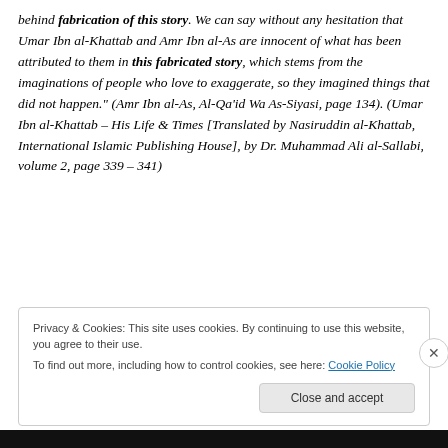behind fabrication of this story. We can say without any hesitation that Umar Ibn al-Khattab and Amr Ibn al-As are innocent of what has been attributed to them in this fabricated story, which stems from the imaginations of people who love to exaggerate, so they imagined things that did not happen." (Amr Ibn al-As, Al-Qa'id Wa As-Siyasi, page 134). (Umar Ibn al-Khattab – His Life & Times [Translated by Nasiruddin al-Khattab, International Islamic Publishing House], by Dr. Muhammad Ali al-Sallabi, volume 2, page 339 – 341)
Privacy & Cookies: This site uses cookies. By continuing to use this website, you agree to their use.
To find out more, including how to control cookies, see here: Cookie Policy